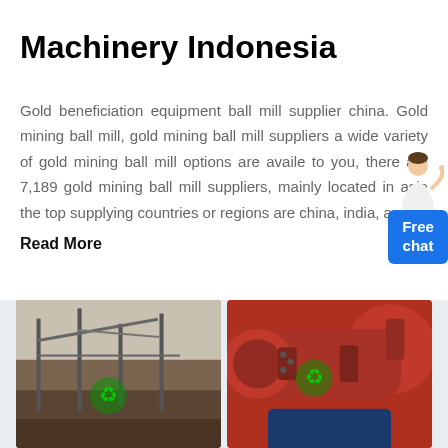Machinery Indonesia
Gold beneficiation equipment ball mill supplier china. Gold mining ball mill, gold mining ball mill suppliers a wide variety of gold mining ball mill options are availe to you, there are 7,189 gold mining ball mill suppliers, mainly located in asia the top supplying countries or regions are china, india, a...
Read More
[Figure (photo): Industrial mining/construction site with metal structures and scaffolding, with a green recycling logo overlay]
[Figure (photo): Close-up of red industrial machinery (ball mill or rotary equipment) with a green recycling logo overlay]